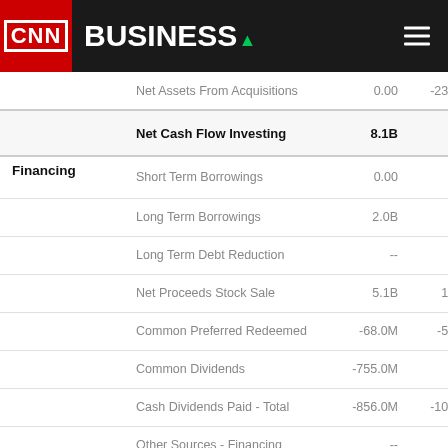CNN BUSINESS
|  | Item | Value1 | Value2 |
| --- | --- | --- | --- |
|  | Net Assets From Acquisitions | 0.00 | -238.0M |
|  | Net Cash Flow Investing | 8.1B | 1.6B |
| Financing | Short Term Borrowings | 0.00 | 0.00 |
|  | Long Term Borrowings | 2.0B | 2.0B |
|  | Long Term Debt Reduction | -- | -- |
|  | Net Proceeds Stock Sale | 5.1B | 15.0M |
|  | Common Preferred Redeemed | -68.0M | -51.0M |
|  | Common Dividends | -755.0M | 0.00 |
|  | Cash Dividends Paid - Total | -856.0M | -101.0M |
|  | Other Sources - Financing | -- | -- |
|  | Other Uses - Financing | 91.0M | 167.0M |
|  | Net Cash Flow - Financing | 4.5B | -755.0M |